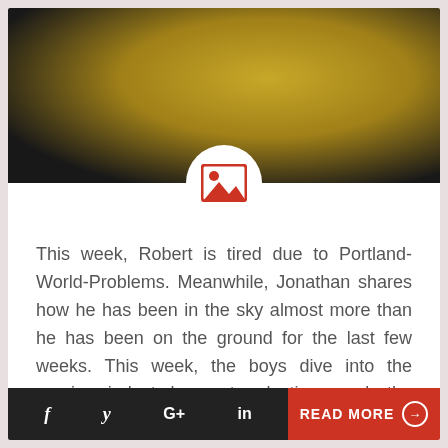[Figure (photo): Photo of a golden/amber colored object on a dark surface, partially cropped]
[Figure (other): Image placeholder icon — red picture frame icon with mountain and sun inside, on white circle background]
This week, Robert is tired due to Portland-World-Problems. Meanwhile, Jonathan shares how he has been in the sky almost more than he has been on the ground for the last few weeks. This week, the boys dive into the gaming industry's most eclectic award, the Diana Jones Award of Excellence...
READ MORE →